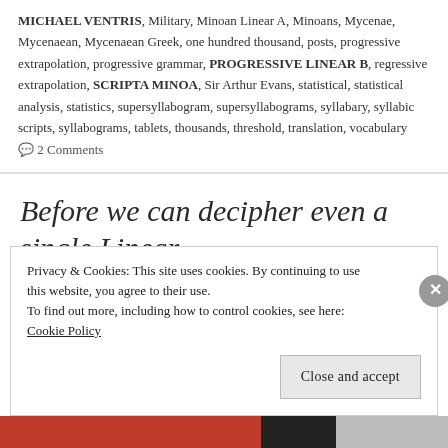MICHAEL VENTRIS, Military, Minoan Linear A, Minoans, Mycenae, Mycenaean, Mycenaean Greek, one hundred thousand, posts, progressive extrapolation, progressive grammar, PROGRESSIVE LINEAR B, regressive extrapolation, SCRIPTA MINOA, Sir Arthur Evans, statistical, statistical analysis, statistics, supersyllabogram, supersyllabograms, syllabary, syllabic scripts, syllabograms, tablets, thousands, threshold, translation, vocabulary  💬 2 Comments
Before we can decipher even a single Linear A tablet on olive oil, we must decipher as many as we can in Linear B, because... PART A: delivery of olive oil
Privacy & Cookies: This site uses cookies. By continuing to use this website, you agree to their use. To find out more, including how to control cookies, see here: Cookie Policy
Close and accept